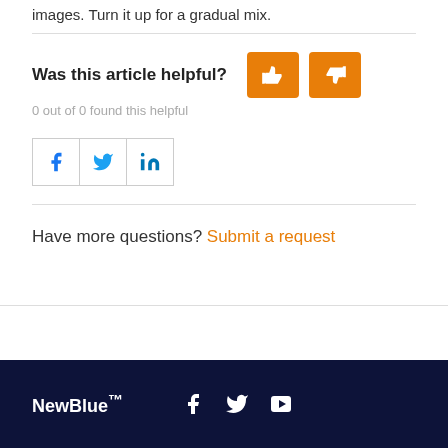images. Turn it up for a gradual mix.
Was this article helpful?
0 out of 0 found this helpful
[Figure (infographic): Thumbs up and thumbs down orange buttons for article helpfulness rating, and Facebook, Twitter, LinkedIn social share buttons]
Have more questions? Submit a request
NewBlue™